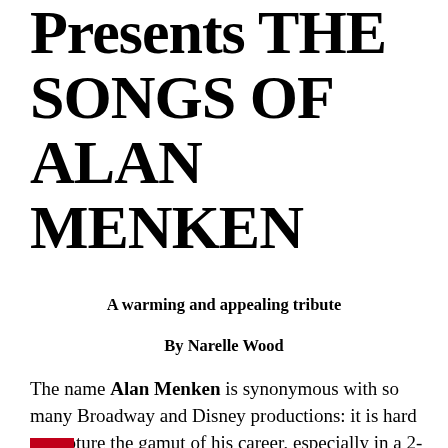Presents THE SONGS OF ALAN MENKEN
A warming and appealing tribute
By Narelle Wood
The name Alan Menken is synonymous with so many Broadway and Disney productions: it is hard to capture the gamut of his career, especially in a 2-hour performance review. But the ensemble cast of the review The Songs of